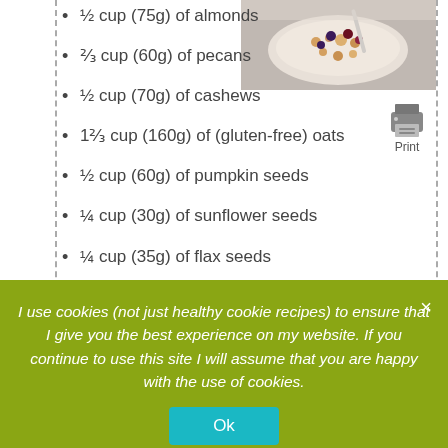[Figure (photo): Bowl of granola/muesli with berries and nuts, overhead view]
[Figure (other): Print button icon with printer graphic and 'Print' label]
½ cup (75g) of almonds
⅔ cup (60g) of pecans
½ cup (70g) of cashews
1⅔ cup (160g) of (gluten-free) oats
½ cup (60g) of pumpkin seeds
¼ cup (30g) of sunflower seeds
¼ cup (35g) of flax seeds
⅓ cup (30g) of coconut flakes
2 tablespoons of coconut oil
3 tablespoons of maple syrup
I use cookies (not just healthy cookie recipes) to ensure that I give you the best experience on my website. If you continue to use this site I will assume that you are happy with the use of cookies.